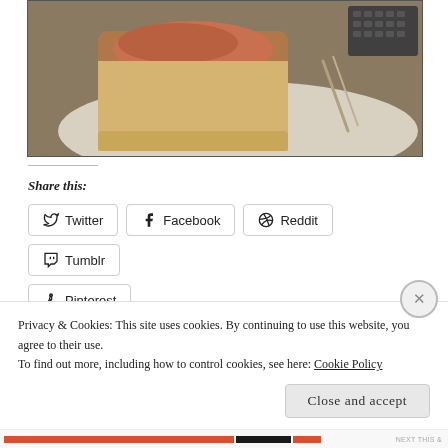[Figure (photo): A food item (bread/pastry with filling) on a white plate with a fork, next to a laptop keyboard on a table]
Share this:
Twitter
Facebook
Reddit
Tumblr
Pinterest
Like
Privacy & Cookies: This site uses cookies. By continuing to use this website, you agree to their use. To find out more, including how to control cookies, see here: Cookie Policy
Close and accept